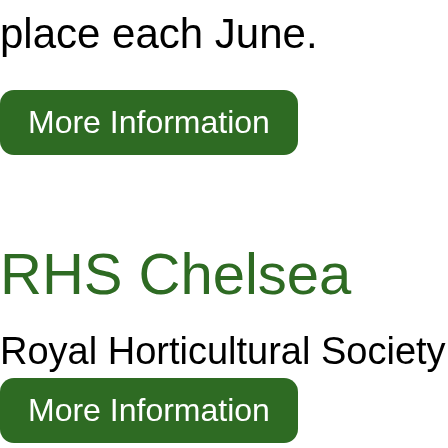place each June.
More Information
RHS Chelsea
Royal Horticultural Society Chels
More Information